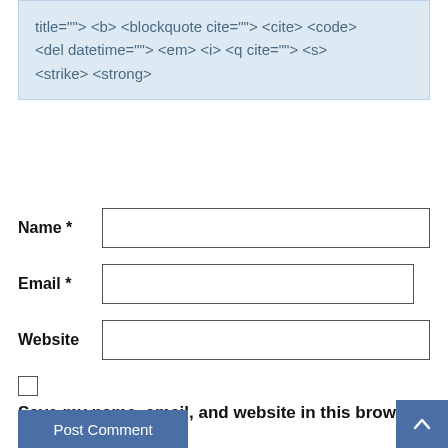title=""> <b> <blockquote cite=""> <cite> <code> <del datetime=""> <em> <i> <q cite=""> <s> <strike> <strong>
Name *
Email *
Website
Save my name, email, and website in this browser for the next time I comment.
Post Comment